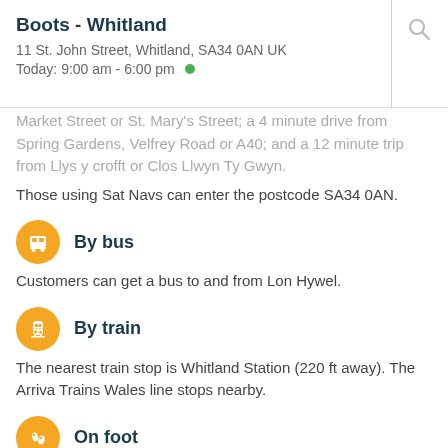Boots - Whitland
11 St. John Street, Whitland, SA34 0AN UK
Today: 9:00 am - 6:00 pm
…a 4 minute drive from Spring Gardens, Velfrey Road or A40; and a 12 minute trip from Llys y crofft or Clos Llwyn Ty Gwyn.
Those using Sat Navs can enter the postcode SA34 0AN.
By bus
Customers can get a bus to and from Lon Hywel.
By train
The nearest train stop is Whitland Station (220 ft away). The Arriva Trains Wales line stops nearby.
On foot
Around this pharmacy you may discover St Mary's